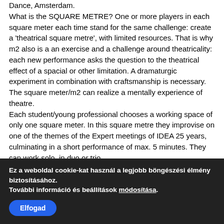Dance, Amsterdam. What is the SQUARE METRE? One or more players in each square meter each time stand for the same challenge: create a 'theatrical square metre', with limited resources. That is why m2 also is a an exercise and a challenge around theatricality: each new performance asks the question to the theatrical effect of a spacial or other limitation. A dramaturgic experiment in combination with craftsmanship is necessary. The square meter/m2 can realize a mentally experience of theatre. Each student/young professional chooses a working space of only one square meter. In this square metre they improvise on one of the themes of the Expert meetings of IDEA 25 years, culminating in a short performance of max. 5 minutes. They can work solo, in duo or trio.
Ez a weboldal cookie-kat használ a legjobb böngészési élmény biztosításához. További információ és beállítások módosítása.
Elfogad